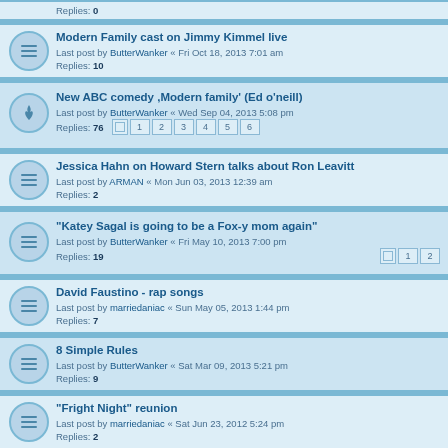Modern Family cast on Jimmy Kimmel live | Last post by ButterWanker « Fri Oct 18, 2013 7:01 am | Replies: 10
New ABC comedy ,Modern family' (Ed o'neill) | Last post by ButterWanker « Wed Sep 04, 2013 5:08 pm | Replies: 76 | Pages: 1 2 3 4 5 6
Jessica Hahn on Howard Stern talks about Ron Leavitt | Last post by ARMAN « Mon Jun 03, 2013 12:39 am | Replies: 2
"Katey Sagal is going to be a Fox-y mom again" | Last post by ButterWanker « Fri May 10, 2013 7:00 pm | Replies: 19 | Pages: 1 2
David Faustino - rap songs | Last post by marriedaniac « Sun May 05, 2013 1:44 pm | Replies: 7
8 Simple Rules | Last post by ButterWanker « Sat Mar 09, 2013 5:21 pm | Replies: 9
"Fright Night" reunion | Last post by marriedaniac « Sat Jun 23, 2012 5:24 pm | Replies: 2
Joey Lauren Adams remembers movies | Last post by Shoe Dick « Thu May 10, 2012 11:29 pm | Replies: 1
Neil Strauss Rules of the Game with David | Last post by marriedaniac « Wed May 02, 2012 7:20 pm